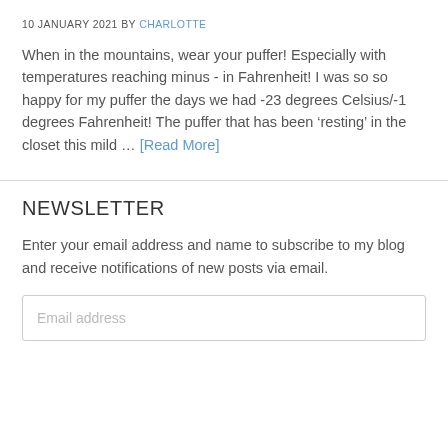10 JANUARY 2021 BY CHARLOTTE
When in the mountains, wear your puffer! Especially with temperatures reaching minus - in Fahrenheit! I was so so happy for my puffer the days we had -23 degrees Celsius/-1 degrees Fahrenheit! The puffer that has been ‘resting’ in the closet this mild ... [Read More]
NEWSLETTER
Enter your email address and name to subscribe to my blog and receive notifications of new posts via email.
Email address